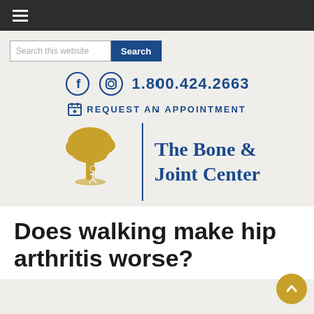≡ (hamburger menu)
Search this website  Search
1.800.424.2663
REQUEST AN APPOINTMENT
[Figure (logo): The Bone & Joint Center logo with golden tree illustration and blue text 'The Bone & Joint Center' with vertical blue divider]
Does walking make hip arthritis worse?